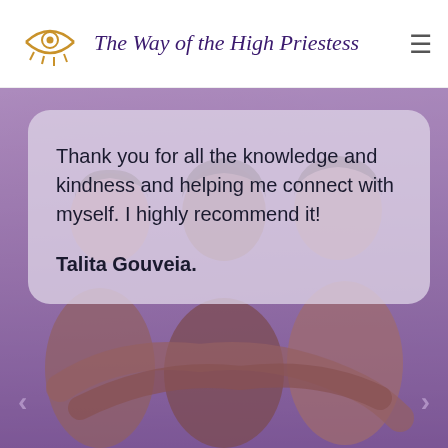The Way of the High Priestess
[Figure (photo): Three women of color hugging each other, smiling, with a purple/lavender color overlay on the image. Background of testimonial section.]
Thank you for all the knowledge and kindness and helping me connect with myself. I highly recommend it!
Talita Gouveia.